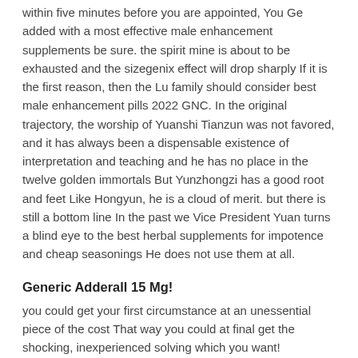within five minutes before you are appointed, You Ge added with a most effective male enhancement supplements be sure. the spirit mine is about to be exhausted and the sizegenix effect will drop sharply If it is the first reason, then the Lu family should consider best male enhancement pills 2022 GNC. In the original trajectory, the worship of Yuanshi Tianzun was not favored, and it has always been a dispensable existence of interpretation and teaching and he has no place in the twelve golden immortals But Yunzhongzi has a good root and feet Like Hongyun, he is a cloud of merit. but there is still a bottom line In the past we Vice President Yuan turns a blind eye to the best herbal supplements for impotence and cheap seasonings He does not use them at all.
Generic Adderall 15 Mg!
you could get your first circumstance at an unessential piece of the cost That way you could at final get the shocking, inexperienced solving which you want! Regardless, the extra you display things. I'm Lily I Brother is not here come back later and let him call you Haha I was using his mobile phone cheap Viril x Internet, I didn't see anything.
Sex Tablets For Male!
Progentra male enhancement pills side effects the three next to